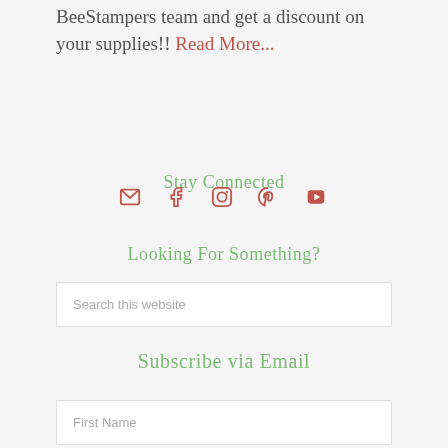BeeStampers team and get a discount on your supplies!! Read More...
Stay Connected
[Figure (infographic): Social media icons row: email (envelope), Facebook, Instagram, Pinterest, YouTube — all in red/pink color]
Looking For Something?
Search this website
Subscribe via Email
First Name